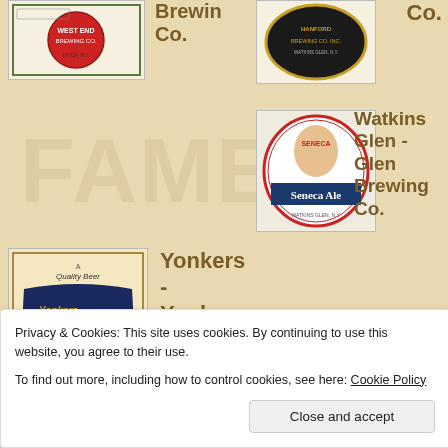[Figure (illustration): Beer label - West End Brewing Co. style, red circular design]
Brewin Co.
[Figure (illustration): Dark oval beer label - Hanford Brewing Co. Inc.]
Co.
[Figure (illustration): Seneca Ale beer label with Native American chief portrait]
Watkins Glen - Glen Brewing Co.
[Figure (illustration): Yonkers Colonial Beer label - dark blue with gold lettering]
Yonkers - Yonkers Colonial Corp.
Privacy & Cookies: This site uses cookies. By continuing to use this website, you agree to their use.
To find out more, including how to control cookies, see here: Cookie Policy
Close and accept